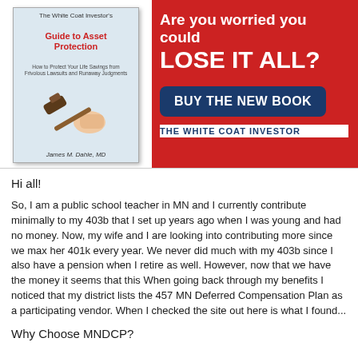[Figure (illustration): Advertisement banner for 'The White Coat Investor's Guide to Asset Protection' book by James M. Dahle, MD. Red background on right with text 'Are you worried you could LOSE IT ALL?' and a dark blue button 'BUY THE NEW BOOK'. Left side shows book cover with gavel image. Bottom right shows 'THE WHITE COAT INVESTOR'.]
Hi all!
So, I am a public school teacher in MN and I currently contribute minimally to my 403b that I set up years ago when I was young and had no money. Now, my wife and I are looking into contributing more since we max her 401k every year. We never did much with my 403b since I also have a pension when I retire as well. However, now that we have the money it seems that this When going back through my benefits I noticed that my district lists the 457 MN Deferred Compensation Plan as a participating vendor. When I checked the site out here is what I found...
Why Choose MNDCP?